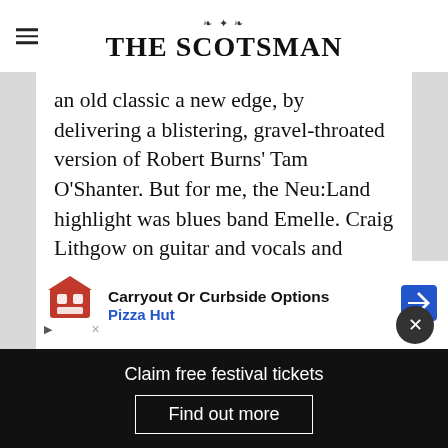THE SCOTSMAN
an old classic a new edge, by delivering a blistering, gravel-throated version of Robert Burns’ Tam O’Shanter. But for me, the Neu:Land highlight was blues band Emelle. Craig Lithgow on guitar and vocals and brother Rhys on Cajun drum and vocal harmonies, both so in tune with each other their sound melted over the stage like warm chocolate.
[Figure (other): Pizza Hut advertisement banner: Carryout Or Curbside Options, Pizza Hut logo with navigation icon]
To… “s”, Emelle write songs about life, love, the quest
Claim free festival tickets   Find out more